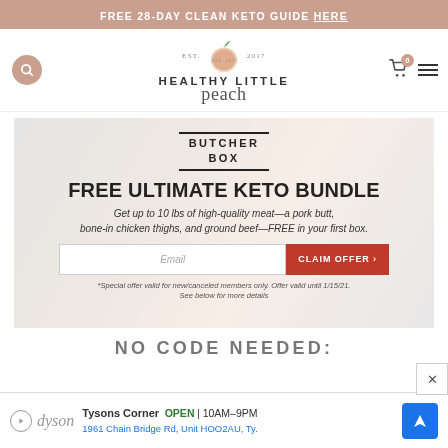FREE 28-DAY CLEAN KETO GUIDE HERE
[Figure (logo): Healthy Little Peach logo with peach illustration, EST. 2017, script font]
[Figure (infographic): ButcherBox promotional banner: FREE ULTIMATE KETO BUNDLE. Get up to 10 lbs of high-quality meat—a pork butt, bone-in chicken thighs, and ground beef—FREE in your first box. Email input and CLAIM OFFER button. Disclaimer: *Special offer valid for new/canceled members only. Offer valid until 1/15/21. See below for more details]
NO CODE NEEDED:
[Figure (infographic): Dyson ad: Tysons Corner OPEN 10AM-9PM 1961 Chain Bridge Rd, Unit HOO2AU, Ty. with navigation arrow]